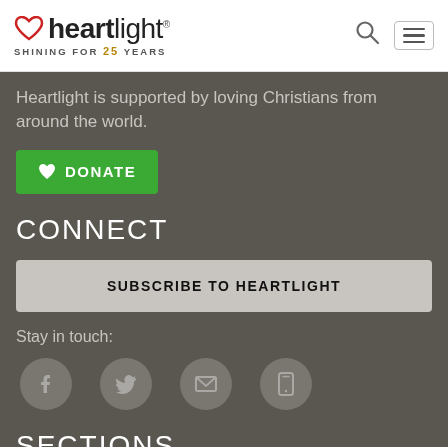heartlight® SHINING FOR 25 YEARS
Heartlight is supported by loving Christians from around the world.
♥ DONATE
CONNECT
SUBSCRIBE TO HEARTLIGHT
Stay in touch:
[Figure (infographic): Four circular social media icons: Facebook, Twitter, Email, Mobile]
SECTIONS
Devotionals